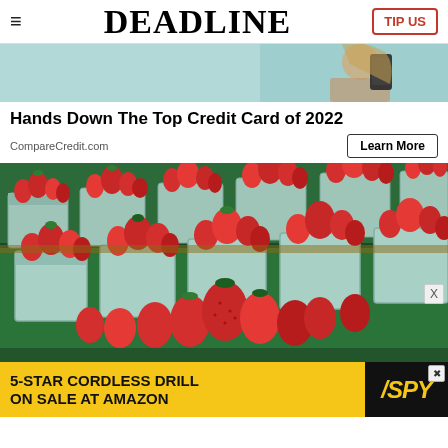DEADLINE
[Figure (photo): Advertisement banner at top showing a person holding a smartphone, teal/mint background]
Hands Down The Top Credit Card of 2022
CompareCredit.com
Learn More
[Figure (photo): Photograph of multiple baskets/pints of fresh red strawberries displayed on a market table with green covering]
[Figure (photo): Bottom advertisement banner: 5-STAR CORDLESS DRILL ON SALE AT AMAZON, yellow background with SPY logo]